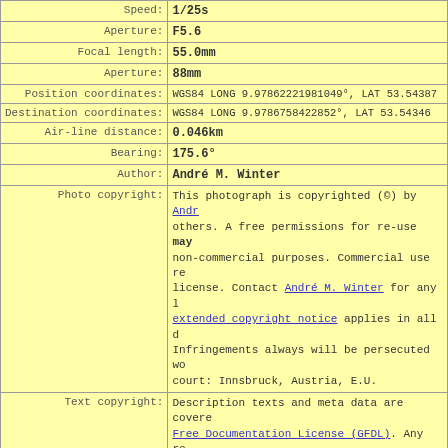| Speed: | 1/25s |
| Aperture: | F5.6 |
| Focal length: | 55.0mm |
| Aperture: | 88mm |
| Position coordinates: | WGS84 LONG 9.97862221981049°, LAT 53.543874... |
| Destination coordinates: | WGS84 LONG 9.9786758422852°, LAT 53.543460... |
| Air-line distance: | 0.046km |
| Bearing: | 175.6° |
| Author: | André M. Winter |
| Photo copyright: | This photograph is copyrighted (©) by André M. Winter and others. A free permissions for re-use may be granted for non-commercial purposes. Commercial use requires a license. Contact André M. Winter for any higher use. An extended copyright notice applies in all domains. Infringements always will be persecuted worldwide in court: Innsbruck, Austria, E.U. |
| Text copyright: | Description texts and meta data are covered by the Free Documentation License (GFDL). Any re-use must cite URL and the author(s) of this document to... |
| Link to this page: | link to this page |
<< prev | top | list    list | top | next >>